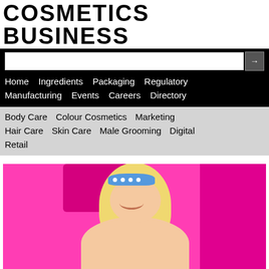COSMETICS BUSINESS
Home  Ingredients  Packaging  Regulatory  Manufacturing  Events  Careers  Directory
Body Care  Colour Cosmetics  Marketing  Hair Care  Skin Care  Male Grooming  Digital  Retail
[Figure (photo): A blonde woman with a blue polka-dot headband, smiling, against a bright pink background. Appears to be from the Barbie movie promotional image.]